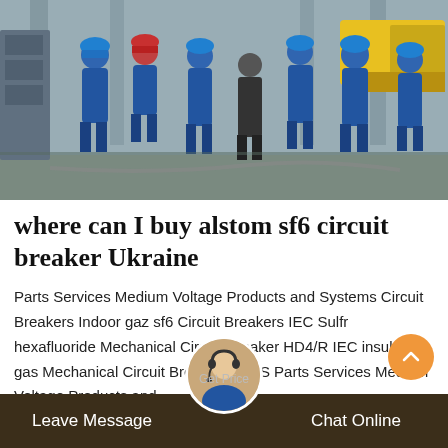[Figure (photo): Group of workers in blue overalls and blue hard hats standing in an industrial facility, with a yellow truck visible in the background.]
where can I buy alstom sf6 circuit breaker Ukraine
Parts Services Medium Voltage Products and Systems Circuit Breakers Indoor gaz sf6 Circuit Breakers IEC Sulfr hexafluoride Mechanical Circuit Breaker HD4/R IEC insulating gas Mechanical Circuit Breaker HD4/S Parts Services Medium Voltage Products and